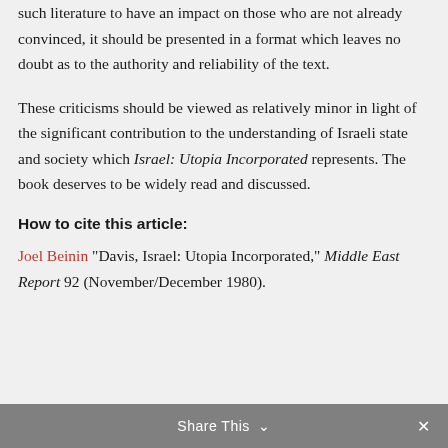such literature to have an impact on those who are not already convinced, it should be presented in a format which leaves no doubt as to the authority and reliability of the text.
These criticisms should be viewed as relatively minor in light of the significant contribution to the understanding of Israeli state and society which Israel: Utopia Incorporated represents. The book deserves to be widely read and discussed.
How to cite this article:
Joel Beinin "Davis, Israel: Utopia Incorporated," Middle East Report 92 (November/December 1980).
Share This ✓ ×